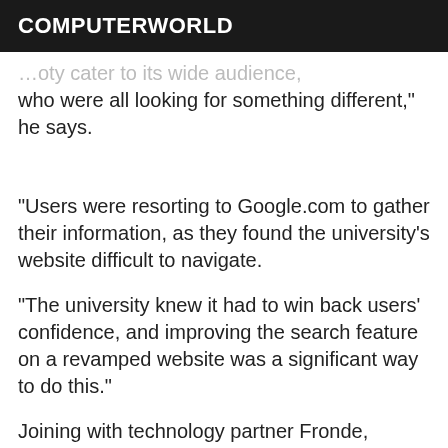COMPUTERWORLD
…oty cater to its wide audience, who were all looking for something different," he says.
"Users were resorting to Google.com to gather their information, as they found the university's website difficult to navigate.
"The university knew it had to win back users' confidence, and improving the search feature on a revamped website was a significant way to do this."
Joining with technology partner Fronde, Victoria University's web team implemented GSA, a bespoke